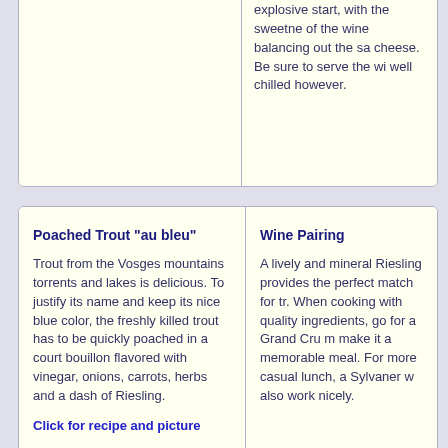explosive start, with the sweetne of the wine balancing out the sa cheese. Be sure to serve the wi well chilled however.
Poached Trout "au bleu"
Trout from the Vosges mountains torrents and lakes is delicious. To justify its name and keep its nice blue color, the freshly killed trout has to be quickly poached in a court bouillon flavored with vinegar, onions, carrots, herbs and a dash of Riesling.
Click for recipe and picture
Wine Pairing
A lively and mineral Riesling provides the perfect match for tr. When cooking with quality ingredients, go for a Grand Cru m make it a memorable meal. For more casual lunch, a Sylvaner w also work nicely.
Poularde aux morilles
[Figure (illustration): Speaker/audio icon indicating audio content]
A variation of the "Coq au Vin Jaune", this classic local specialty is very popular in many Jura restaurants, di...
Wine Pairing
With Vin Jaune and morel mushrooms playing an essential role in this recipe, it is only natur...